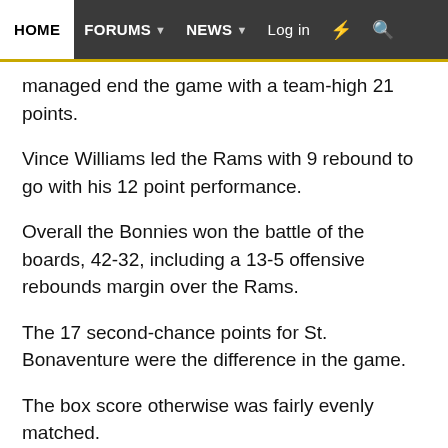HOME | FORUMS | NEWS | Log in
managed end the game with a team-high 21 points.
Vince Williams led the Rams with 9 rebound to go with his 12 point performance.
Overall the Bonnies won the battle of the boards, 42-32, including a 13-5 offensive rebounds margin over the Rams.
The 17 second-chance points for St. Bonaventure were the difference in the game.
The box score otherwise was fairly evenly matched.
The Rams and Bonnies shot 41% and 40%, respectively,